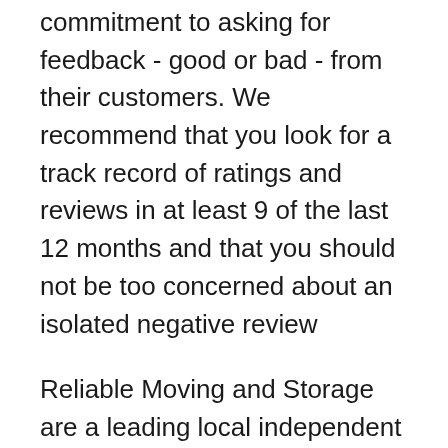commitment to asking for feedback - good or bad - from their customers. We recommend that you look for a track record of ratings and reviews in at least 9 of the last 12 months and that you should not be too concerned about an isolated negative review
Reliable Moving and Storage are a leading local independent family-run business, providing packing, moving and storage services. Our friendly, fully trained uniformed staff have unparalleled commitment to service and satisfaction. From the initial enquiry through to collection and delivery, our quality management system ensures every client Reliable Moving and Storage. 40 likes. Reliable Moving & Storage is a